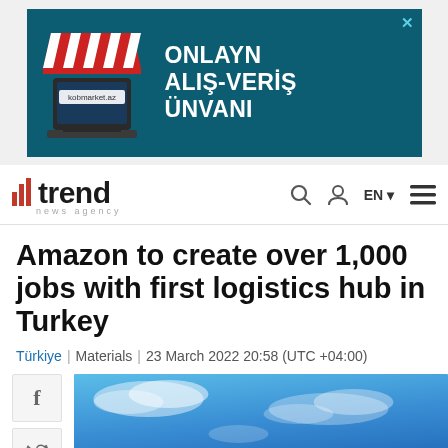[Figure (illustration): Advertisement banner for kobmarket.az showing a market stall awning illustration with text 'ONLAYN ALIŞ-VERİŞ ÜNVANI' on a teal background]
[Figure (logo): Trend News Agency logo with bar chart icon and 'news agency' subtitle, plus navigation icons (search, user, EN language selector, hamburger menu)]
Amazon to create over 1,000 jobs with first logistics hub in Turkey
Türkiye | Materials | 23 March 2022 20:58 (UTC +04:00)
[Figure (photo): Blue sky with white clouds photo, partially visible at bottom of page. Social media share buttons (Facebook, Twitter, other) on the left side.]